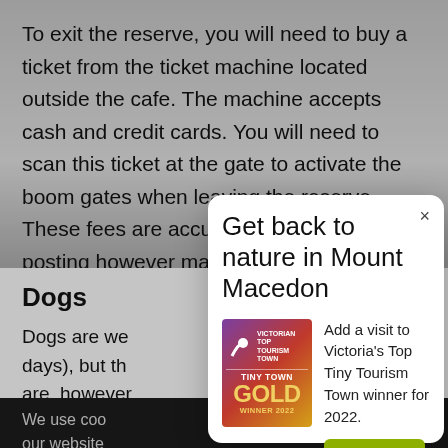To exit the reserve, you will need to buy a ticket from the ticket machine located outside the cafe. The machine accepts cash and credit cards. You will need to scan this ticket at the gate to activate the boom gates when leaving the reserve. These fees are accurate at the time of posting however may be subject to future change.
Dogs
Dogs are we... (days), but th... are, however...
We use coo... our website...
[Figure (screenshot): A modal popup dialog with title 'Get back to nature in Mount Macedon', containing a Victorian Top Tourism Town Tiny Town Gold Winner 2022 badge and text 'Add a visit to Victoria's Top Tiny Tourism Town winner for 2022.' with a 'Plan a trip' button.]